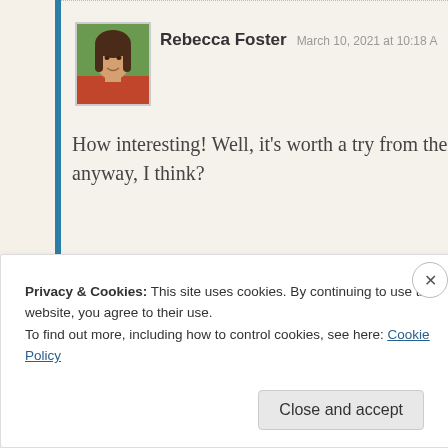[Figure (photo): Profile photo of Rebecca Foster, a woman with long brown hair wearing a red top, against a green background]
Rebecca Foster   March 10, 2021 at 10:18 A
How interesting! Well, it’s worth a try from the anyway, I think?
★ Like
Privacy & Cookies: This site uses cookies. By continuing to use this website, you agree to their use.
To find out more, including how to control cookies, see here: Cookie Policy
Close and accept